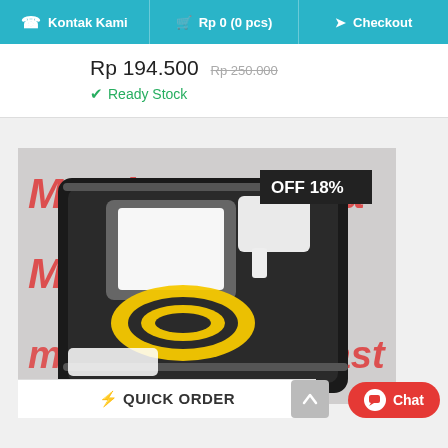Kontak Kami  Rp 0 (0 pcs)  Checkout
Rp 194.500  Rp 250.000
✔ Ready Stock
[Figure (photo): Product photo showing a portable WiFi device and yellow USB cable stored in a black zippered carrying case, with Mastina branded background. Badge shows OFF 18%.]
⚡ QUICK ORDER